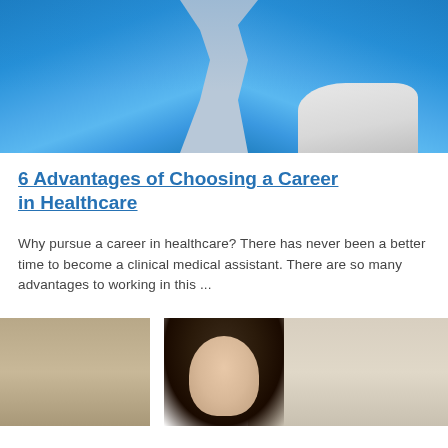[Figure (photo): Close-up photo of medical professional wearing blue latex gloves, with yellow clothing and white coat visible, patient partially visible]
6 Advantages of Choosing a Career in Healthcare
Why pursue a career in healthcare? There has never been a better time to become a clinical medical assistant. There are so many advantages to working in this ...
[Figure (photo): Photo of a young woman with dark hair looking down, possibly at a desk or counter, in a beige/neutral interior setting]